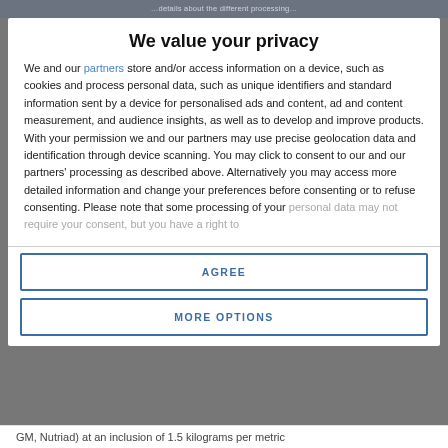...details about different processing...
We value your privacy
We and our partners store and/or access information on a device, such as cookies and process personal data, such as unique identifiers and standard information sent by a device for personalised ads and content, ad and content measurement, and audience insights, as well as to develop and improve products. With your permission we and our partners may use precise geolocation data and identification through device scanning. You may click to consent to our and our partners' processing as described above. Alternatively you may access more detailed information and change your preferences before consenting or to refuse consenting. Please note that some processing of your personal data may not require your consent, but you have a right to
AGREE
MORE OPTIONS
GM, Nutriad) at an inclusion of 1.5 kilograms per metric